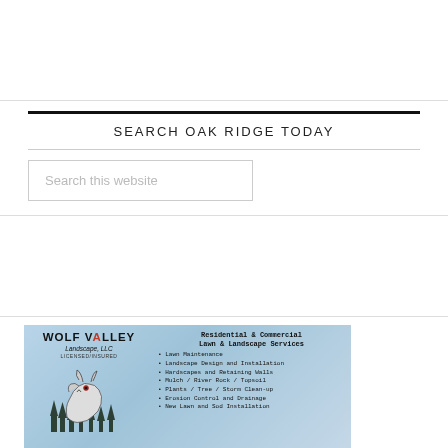SEARCH OAK RIDGE TODAY
Search this website
[Figure (illustration): Wolf Valley Landscape LLC advertisement showing a wolf howling with trees silhouette, listing residential and commercial lawn and landscape services including: Lawn Maintenance, Landscape Design and Installation, Hardscapes and Retaining Walls, Mulch / River Rock / Topsoil, Plants / Tree / Storm Clean-up, Erosion Control and Drainage, New Lawn and Sod Installation]